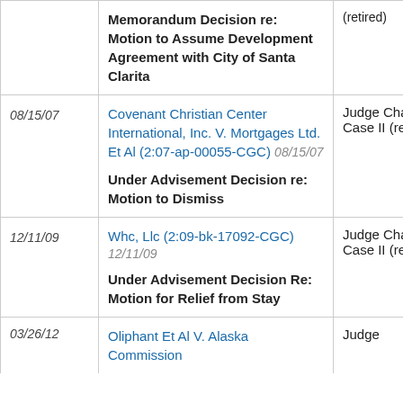| Date | Case | Judge |
| --- | --- | --- |
|  | Memorandum Decision re: Motion to Assume Development Agreement with City of Santa Clarita | (retired) [search icon] |
| 08/15/07 | Covenant Christian Center International, Inc. V. Mortgages Ltd. Et Al (2:07-ap-00055-CGC) 08/15/07
Under Advisement Decision re: Motion to Dismiss | Judge Charles G. Case II (retired) |
| 12/11/09 | Whc, Llc (2:09-bk-17092-CGC) 12/11/09
Under Advisement Decision Re: Motion for Relief from Stay | Judge Charles G. Case II (retired) |
| 03/26/12 | Oliphant Et Al V. Alaska Commission ... | Judge ... |